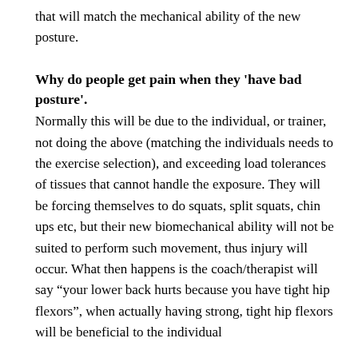that will match the mechanical ability of the new posture.
Why do people get pain when they 'have bad posture'.
Normally this will be due to the individual, or trainer, not doing the above (matching the individuals needs to the exercise selection), and exceeding load tolerances of tissues that cannot handle the exposure. They will be forcing themselves to do squats, split squats, chin ups etc, but their new biomechanical ability will not be suited to perform such movement, thus injury will occur. What then happens is the coach/therapist will say “your lower back hurts because you have tight hip flexors”, when actually having strong, tight hip flexors will be beneficial to the individual